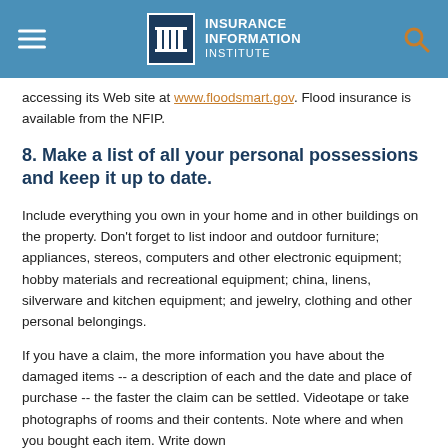Insurance Information Institute
accessing its Web site at www.floodsmart.gov. Flood insurance is available from the NFIP.
8. Make a list of all your personal possessions and keep it up to date.
Include everything you own in your home and in other buildings on the property. Don't forget to list indoor and outdoor furniture; appliances, stereos, computers and other electronic equipment; hobby materials and recreational equipment; china, linens, silverware and kitchen equipment; and jewelry, clothing and other personal belongings.
If you have a claim, the more information you have about the damaged items -- a description of each and the date and place of purchase -- the faster the claim can be settled. Videotape or take photographs of rooms and their contents. Note where and when you bought each item. Write down